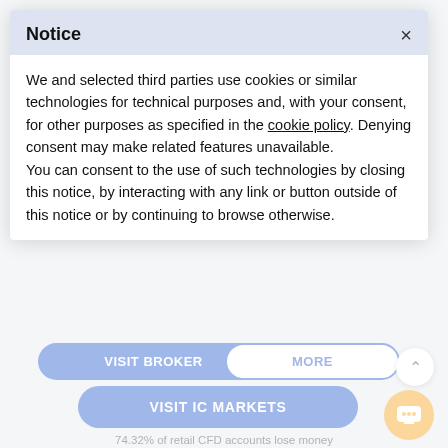[Figure (screenshot): Background showing faded broker logos: Fusion Markets, Axi, TMGM]
Notice
We and selected third parties use cookies or similar technologies for technical purposes and, with your consent, for other purposes as specified in the cookie policy. Denying consent may make related features unavailable.
You can consent to the use of such technologies by closing this notice, by interacting with any link or button outside of this notice or by continuing to browse otherwise.
|  | Fusion Markets | Axi | TMGM |  |
| --- | --- | --- | --- | --- |
| Withdrawal fee | $0 ⓘ | $0 ⓘ | $0 ⓘ | $ |
VISIT BROKER
MORE
VISIT IC MARKETS
74.32% of retail CFD accounts lose money